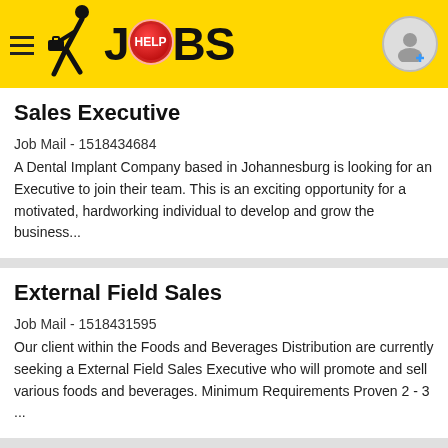[Figure (logo): Help Jobs mobile app header with yellow background, hamburger menu icon, walking person with briefcase logo, JOBS text with red HELP circle replacing O, and user profile icon]
Sales Executive
Job Mail - 1518434684
A Dental Implant Company based in Johannesburg is looking for an Executive to join their team. This is an exciting opportunity for a motivated, hardworking individual to develop and grow the business...
External Field Sales
Job Mail - 1518431595
Our client within the Foods and Beverages Distribution are currently seeking a External Field Sales Executive who will promote and sell various foods and beverages. Minimum Requirements Proven 2 - 3 ...
Motor Sales Executives
Job Mail - 1518423239